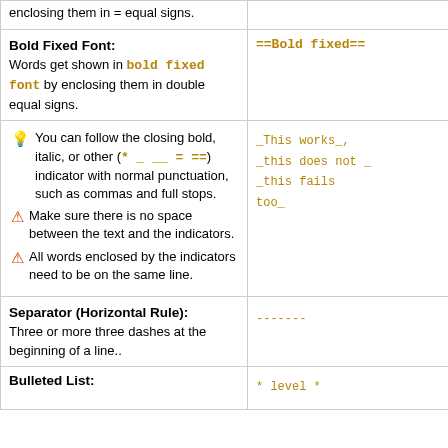enclosing them in = equal signs.
==Bold fixed==
Bold Fixed Font: Words get shown in bold fixed font by enclosing them in double equal signs.
==Bold fixed==
You can follow the closing bold, italic, or other (* _ __ = ==) indicator with normal punctuation, such as commas and full stops.
Make sure there is no space between the text and the indicators.
All words enclosed by the indicators need to be on the same line.
_This works_, _this does not _ _this fails too_
Separator (Horizontal Rule): Three or more three dashes at the beginning of a line..
-------
Bulleted List:
* level *